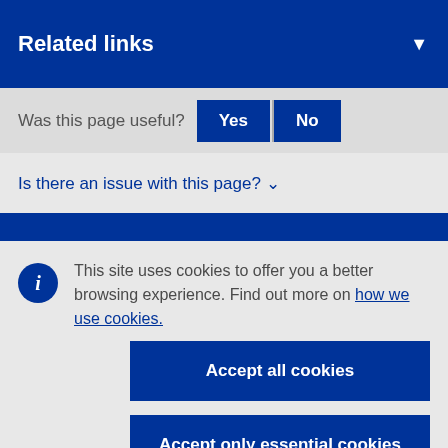Related links
Was this page useful? Yes No
Is there an issue with this page? ▾
This site uses cookies to offer you a better browsing experience. Find out more on how we use cookies.
Accept all cookies
Accept only essential cookies